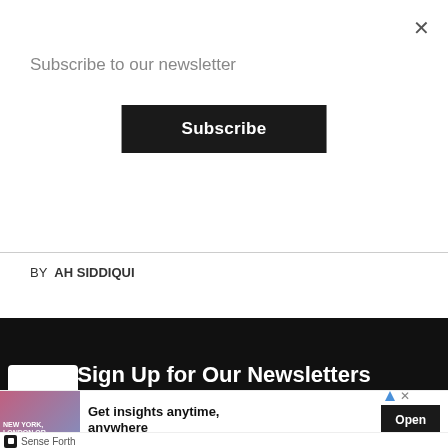Subscribe to our newsletter
Subscribe
BY  AH SIDDIQUI
Sign Up for Our Newsletters
Get notified with the latest news updates
[Figure (screenshot): Advertisement banner with photo of a person, text 'NEW YORK, LONDON OR SINGAPORE,' and headline 'Get insights anytime, anywhere' with an Open button. Sense Forth branding at bottom.]